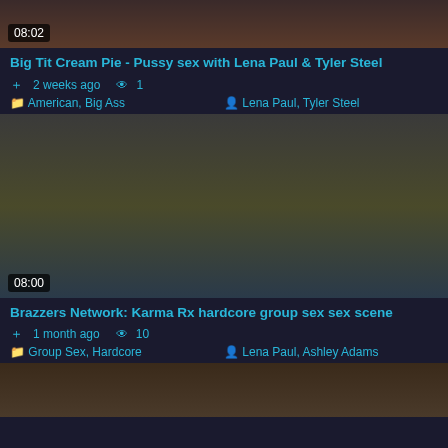[Figure (photo): Video thumbnail showing close-up adult content, timestamp 08:02]
Big Tit Cream Pie - Pussy sex with Lena Paul & Tyler Steel
2 weeks ago  1
American,  Big Ass   Lena Paul,  Tyler Steel
[Figure (photo): Video thumbnail showing group of people at pool party, timestamp 08:00]
Brazzers Network: Karma Rx hardcore group sex sex scene
1 month ago  10
Group Sex,  Hardcore   Lena Paul,  Ashley Adams
[Figure (photo): Video thumbnail partially visible at bottom of page]